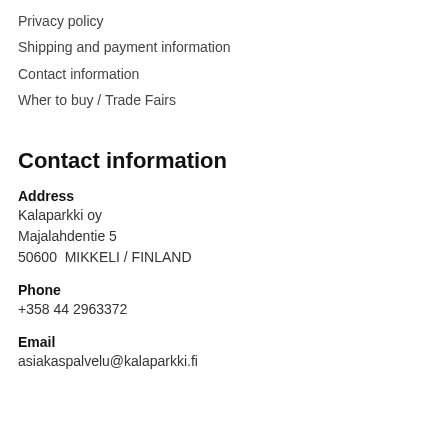Privacy policy
Shipping and payment information
Contact information
Wher to buy / Trade Fairs
Contact information
Address
Kalaparkki oy
Majalahdentie 5
50600  MIKKELI / FINLAND
Phone
+358 44 2963372
Email
asiakaspalvelu@kalaparkki.fi